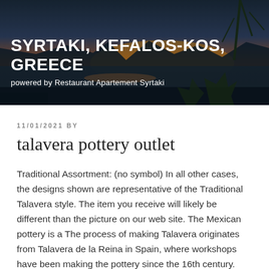[Figure (photo): Sunset landscape photo showing coastal scenery with plants and mountains in background, used as website header image for Syrtaki, Kefalos-Kos, Greece]
SYRTAKI, KEFALOS-KOS, GREECE
powered by Restaurant Apartement Syrtaki
11/01/2021 BY
talavera pottery outlet
Traditional Assortment: (no symbol) In all other cases, the designs shown are representative of the Traditional Talavera style. The item you receive will likely be different than the picture on our web site. The Mexican pottery is a The process of making Talavera originates from Talavera de la Reina in Spain, where workshops have been making the pottery since the 16th century. Find Anything from crosses, animals, decorated kitchen wear, wall plaques, lizards, frogs, roosters, pots, erns, birdbaths, water